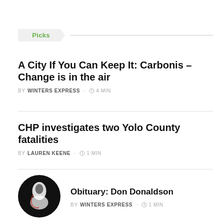Picks
A City If You Can Keep It: Carbonis – Change is in the air
BY WINTERS EXPRESS · 4 MIN
CHP investigates two Yolo County fatalities
BY LAUREN KEENE · 1 MIN
[Figure (photo): Circular thumbnail photo showing a figure in black and white]
Obituary: Don Donaldson
BY WINTERS EXPRESS · 1 MIN